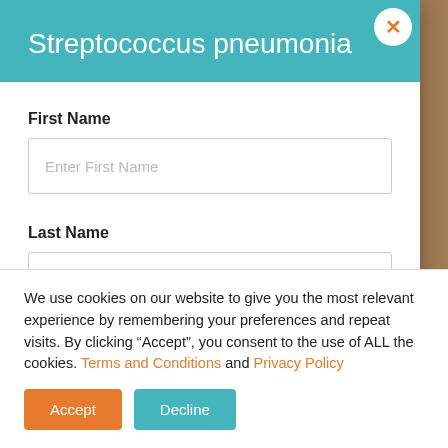Streptococcus pneumonia
First Name
Enter First Name
Last Name
We use cookies on our website to give you the most relevant experience by remembering your preferences and repeat visits. By clicking “Accept”, you consent to the use of ALL the cookies. Terms and Conditions and Privacy Policy
Accept
Decline